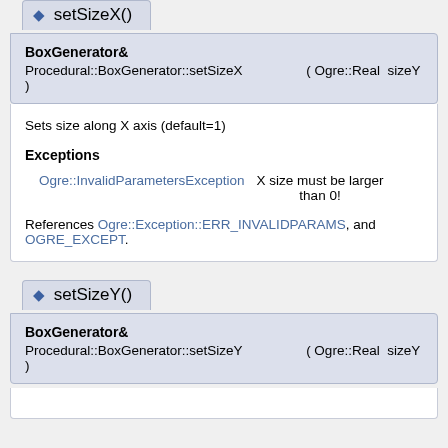setSizeX()
BoxGenerator&
Procedural::BoxGenerator::setSizeX ( Ogre::Real  sizeX )
Sets size along X axis (default=1)
Exceptions
Ogre::InvalidParametersException  X size must be larger than 0!
References Ogre::Exception::ERR_INVALIDPARAMS, and OGRE_EXCEPT.
setSizeY()
BoxGenerator&
Procedural::BoxGenerator::setSizeY ( Ogre::Real  sizeY )